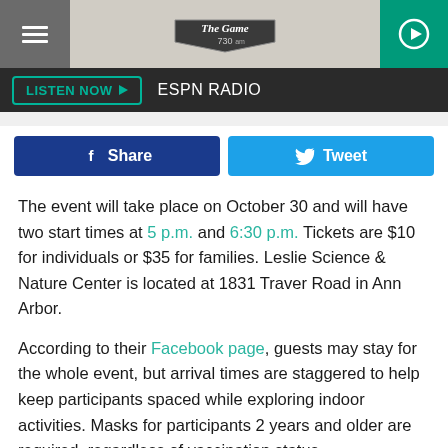[Figure (screenshot): Website header with hamburger menu on left, 'The Game 730am' logo in center on grey background, and green play button on right]
LISTEN NOW ▶  ESPN RADIO
[Figure (infographic): Facebook Share button (dark blue) and Tweet button (light blue) side by side]
The event will take place on October 30 and will have two start times at 5 p.m. and 6:30 p.m. Tickets are $10 for individuals or $35 for families. Leslie Science & Nature Center is located at 1831 Traver Road in Ann Arbor.
According to their Facebook page, guests may stay for the whole event, but arrival times are staggered to help keep participants spaced while exploring indoor activities. Masks for participants 2 years and older are required, regardless of vaccination status.